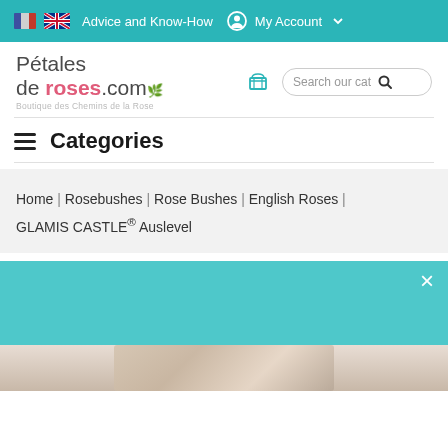Advice and Know-How | My Account
[Figure (logo): Pétales de roses.com logo with tagline 'Boutique des Chemins de la Rose']
Categories
Home | Rosebushes | Rose Bushes | English Roses | GLAMIS CASTLE® Auslevel
[Figure (other): Teal promotional banner with close X button]
[Figure (photo): Partial photo of roses at the bottom of the page]